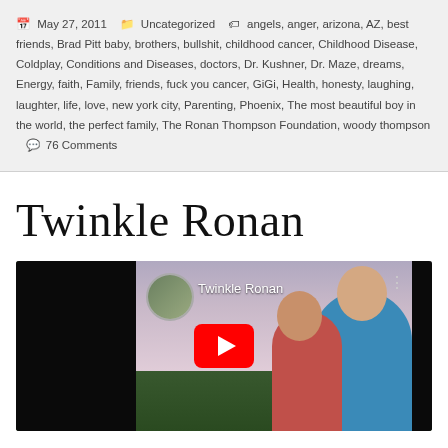May 27, 2011  Uncategorized  angels, anger, arizona, AZ, best friends, Brad Pitt baby, brothers, bullshit, childhood cancer, Childhood Disease, Coldplay, Conditions and Diseases, doctors, Dr. Kushner, Dr. Maze, dreams, Energy, faith, Family, friends, fuck you cancer, GiGi, Health, honesty, laughing, laughter, life, love, new york city, Parenting, Phoenix, The most beautiful boy in the world, the perfect family, The Ronan Thompson Foundation, woody thompson  76 Comments
Twinkle Ronan
[Figure (screenshot): YouTube video thumbnail showing 'Twinkle Ronan' with a family photo in the background — a man in a blue sleeveless shirt, a woman, and another person. There is a YouTube play button centered on the image. The left and right edges have black bars. A circular channel avatar is in the upper-left area of the video frame with the title 'Twinkle Ronan' displayed next to it.]